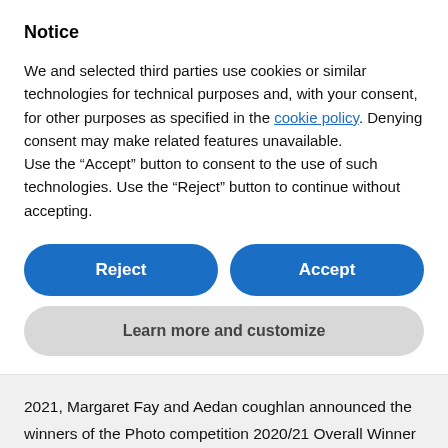Notice
We and selected third parties use cookies or similar technologies for technical purposes and, with your consent, for other purposes as specified in the cookie policy. Denying consent may make related features unavailable.
Use the “Accept” button to consent to the use of such technologies. Use the “Reject” button to continue without accepting.
Reject
Accept
Learn more and customize
2021, Margaret Fay and Aedan coughlan announced the winners of the Photo competition 2020/21 Overall Winner – Derek Coffey Racing yachts at close quarters RESULTS OF PHOTOGRAPHIC & CRUISING LOG COMPETITIONSPaul and